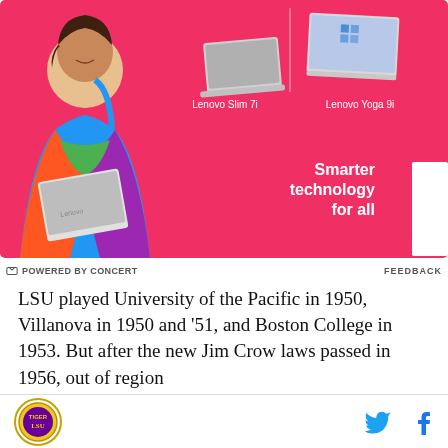[Figure (photo): Lenovo advertisement on pink background showing a woman holding a laptop, with Lenovo Slim 7i and Lenovo Yoga 9i laptops displayed. Slogan reads 'Smarter technology for all' with Lenovo logo badge.]
POWERED BY CONCERT   FEEDBACK
LSU played University of the Pacific in 1950, Villanova in 1950 and ’51, and Boston College in 1953. But after the new Jim Crow laws passed in 1956, out of region games became more difficult. Wisconsin backed out of
LSU logo | Twitter icon | Facebook icon